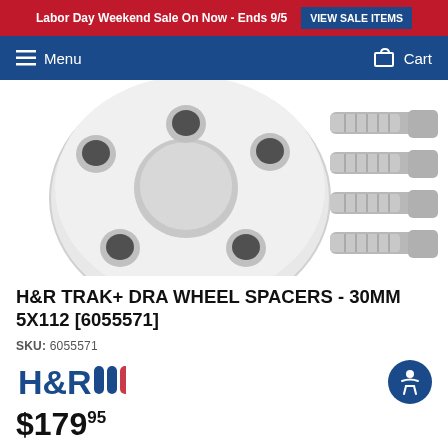Labor Day Weekend Sale On Now - Ends 9/5  VIEW SALE ITEMS
Menu   Cart
[Figure (photo): H&R TRAK+ DRA Wheel Spacer disc and four bolts on white background]
H&R TRAK+ DRA WHEEL SPACERS - 30MM 5X112 [6055571]
SKU: 6055571
[Figure (logo): H&R logo with blue text and red wheel lines]
$179.95